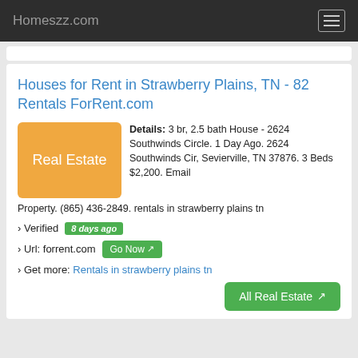Homeszz.com
Houses for Rent in Strawberry Plains, TN - 82 Rentals ForRent.com
Details: 3 br, 2.5 bath House - 2624 Southwinds Circle. 1 Day Ago. 2624 Southwinds Cir, Sevierville, TN 37876. 3 Beds $2,200. Email Property. (865) 436-2849. rentals in strawberry plains tn
› Verified  8 days ago
› Url: forrent.com  Go Now
› Get more: Rentals in strawberry plains tn
All Real Estate